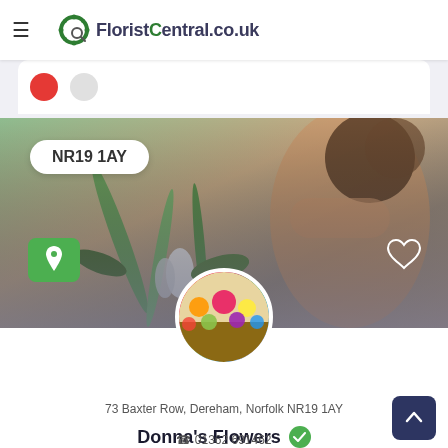[Figure (screenshot): FloristCentral.co.uk website header with hamburger menu icon and logo (green wreath with magnifying glass and dark text)]
www.esta-united.co.uk - Help for ESTA application
[Figure (photo): Hero banner image of florist hands arranging flowers including white tulips and green leaves with a postcode badge NR19 1AY overlay, green map pin button, and heart icon]
NR19 1AY
[Figure (photo): Circular profile photo of a colourful flower shop display]
Donna's Flowers
73 Baxter Row, Dereham, Norfolk NR19 1AY
01362 691462
http://www.iflorist.co.uk/